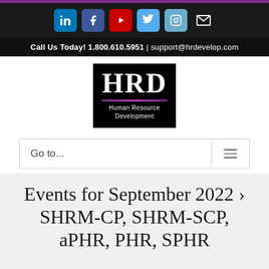Social media icons: LinkedIn, Facebook, YouTube, Twitter, Instagram, Email
Call Us Today! 1.800.610.5951 | support@hrdevelop.com
[Figure (logo): HRD Human Resource Development logo — white text on black background with purple decorative line]
Go to...
Events for September 2022 › SHRM-CP, SHRM-SCP, aPHR, PHR, SPHR